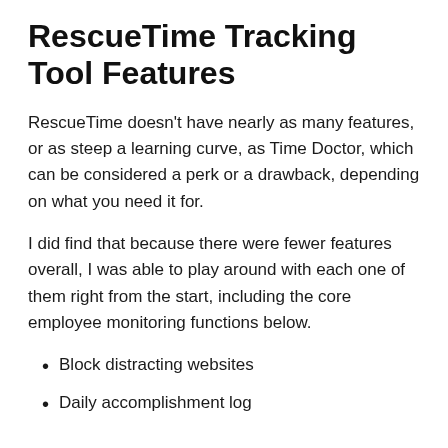RescueTime Tracking Tool Features
RescueTime doesn't have nearly as many features, or as steep a learning curve, as Time Doctor, which can be considered a perk or a drawback, depending on what you need it for.
I did find that because there were fewer features overall, I was able to play around with each one of them right from the start, including the core employee monitoring functions below.
Block distracting websites
Daily accomplishment log